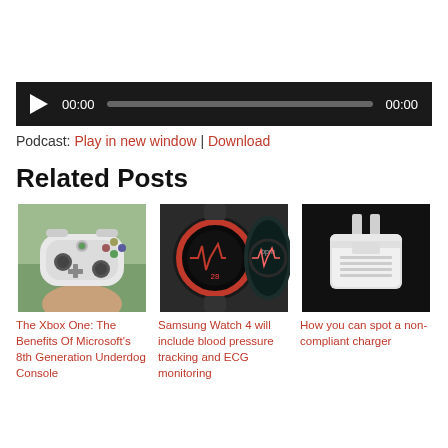[Figure (other): Audio player with play button, time display 00:00, progress bar, and end time 00:00 on dark background]
Podcast: Play in new window | Download
Related Posts
[Figure (photo): Xbox One controller held in hand with green plant background]
The Xbox One: The Benefits Of Microsoft's 8th Generation Underdog Console
[Figure (photo): Samsung smartwatch showing heart rate / ECG display with red and black design]
Samsung Watch 4 will include blood pressure tracking and ECG monitoring
[Figure (photo): White non-compliant electrical charger/plug on dark background]
How you can spot a non-compliant charger